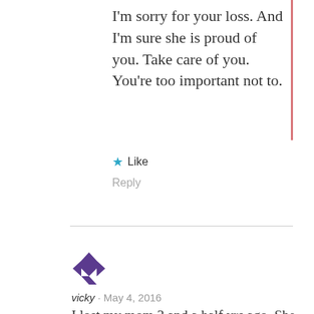I'm sorry for your loss. And I'm sure she is proud of you. Take care of you. You're too important not to.
★ Like
Reply
[Figure (illustration): Purple geometric avatar icon for user vicky]
vicky · May 4, 2016
I lost my mom 3 and a half yrs ago. She was my best friend. Still try and call her. I also didn't get